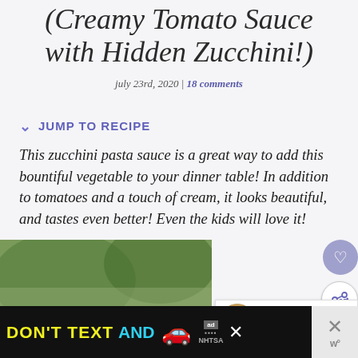(Creamy Tomato Sauce with Hidden Zucchini!)
july 23rd, 2020 | 18 comments
JUMP TO RECIPE
This zucchini pasta sauce is a great way to add this bountiful vegetable to your dinner table! In addition to tomatoes and a touch of cream, it looks beautiful, and tastes even better! Even the kids will love it!
[Figure (photo): Food photo and advertisement banner at bottom of page]
WHAT'S NEXT → Peach Bellini Recipe (like...